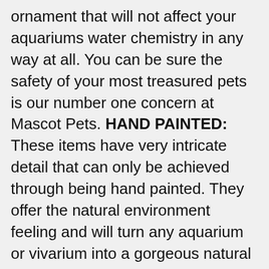ornament that will not affect your aquariums water chemistry in any way at all. You can be sure the safety of your most treasured pets is our number one concern at Mascot Pets. HAND PAINTED: These items have very intricate detail that can only be achieved through being hand painted. They offer the natural environment feeling and will turn any aquarium or vivarium into a gorgeous natural looking scene. FUN: All our products are fun for your pets. They provide new and safe places for your pets to explore or hide. We have a full range that is guaranteed to provide the most enriching, gorgeous scenery for your aquarium or